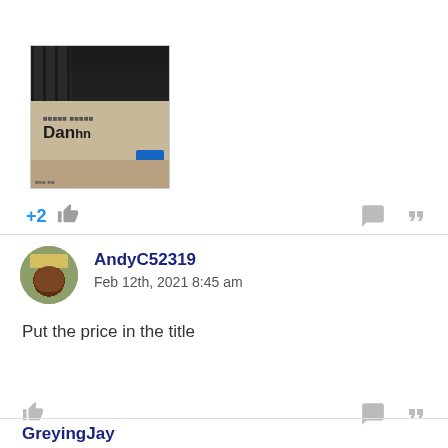[Figure (photo): A warehouse shelf photo showing cardboard boxes with text starting with 'Dan' and a blue label sticker, with orange shelving visible at top]
+2
AndyC52319
Feb 12th, 2021 8:45 am
Put the price in the title
GreyingJay